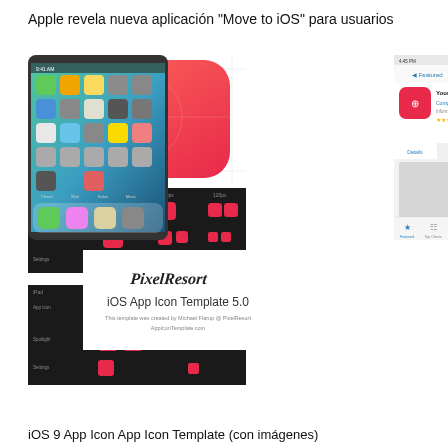Apple revela nueva aplicación "Move to iOS" para usuarios
[Figure (screenshot): iOS App Icon designer tool showing large red/coral compass-style app icon on white background with grid lines, plus iPhone and iPad icon size mockup grids and App Store screenshot, and PixelResort iOS App Icon Template 5.0 branding]
iOS 9 App Icon App Icon Template (con imágenes)